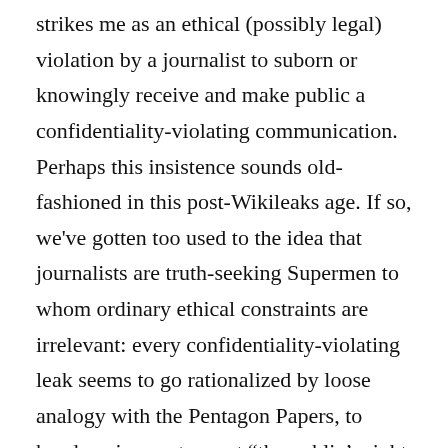strikes me as an ethical (possibly legal) violation by a journalist to suborn or knowingly receive and make public a confidentiality-violating communication. Perhaps this insistence sounds old-fashioned in this post-Wikileaks age. If so, we’ve gotten too used to the idea that journalists are truth-seeking Supermen to whom ordinary ethical constraints are irrelevant: every confidentiality-violating leak seems to go rationalized by loose analogy with the Pentagon Papers, to handwaving gestures at “the public’s right to know,” or to some pseudo-Peircian quest to follow every inquiry where it leads, no matter whose rights you have to violate in the process.